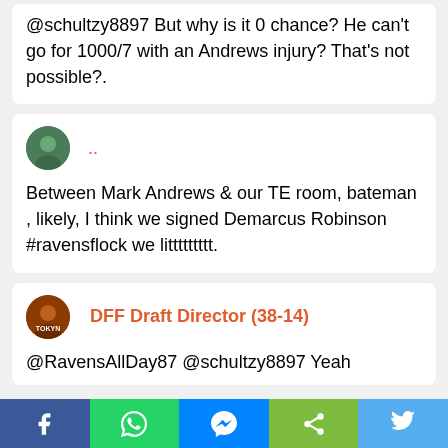@schultzy8897 But why is it 0 chance? He can't go for 1000/7 with an Andrews injury? That's not possible?.
[Figure (screenshot): User avatar circle with green/teal background, small profile image]
.. (more options dots in orange)
Between Mark Andrews & our TE room, bateman , likely, I think we signed Demarcus Robinson #ravensflock we littttttttt.
[Figure (screenshot): User avatar circle orange/brown background labeled TOKYN]
DFF Draft Director (38-14)
@RavensAllDay87 @schultzy8897 Yeah
[Figure (screenshot): Social sharing bottom bar with Facebook, WhatsApp, Messenger, Share, Twitter buttons]